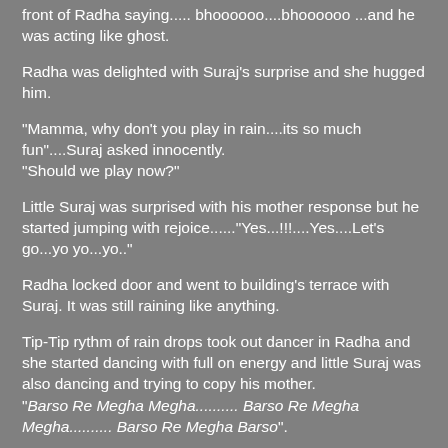front of Radha saying..... bhoooooo....bhoooooo ...and he was acting like ghost.
Radha was delighted with Suraj's surprise and she hugged him.
"Mamma, why don't you play in rain....its so much fun"....Suraj asked innocently.
"Should we play now?"
Little Suraj was surprised with his mother response but he started jumping with rejoice......"Yes...!!!....Yes....Let's go...yo yo...yo.."
Radha locked door and went to building's terrace with Suraj. It was still raining like anything.
Tip-Tip rythm of rain drops took out dancer in Radha and she started dancing with full on energy and little Suraj was also dancing and trying to copy his mother.
"Barso Re Megha Megha.......... Barso Re Megha Megha.......... Barso Re Megha Barso".